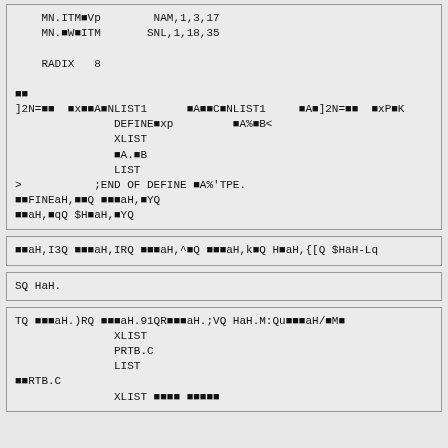MN.ITM■Vp    NAM,1,3,17
MN.■W■ITM   SNL,1,18,35

RADIX   8

■■
]2N=■■  ■x■■A■NLIST1      ■A■■C■NLIST1     ■A■]2N=■■  ■xP■K
             DEFINE■xp         ■A%■B<
             XLIST
             ■A.■B
             LIST
>           ;END OF DEFINE ■A%'TPE.
■■FINEaH,■■Q ■■■aH,■YQ
■■aH,■qQ $H■aH,■YQ
■■aH,I3Q ■■■aH,IRQ ■■■aH,^■Q ■■■aH,k■Q H■aH,{[Q $HaH-Lq
SQ HaH.
TQ ■■■aH.)RQ ■■■aH.91QR■■■aH.;VQ HaH.M:Qu■■■aH/■M■
             XLIST
             PRTB.C
             LIST
■■RTB.C
             XLIST ■■■■ ■■■■■